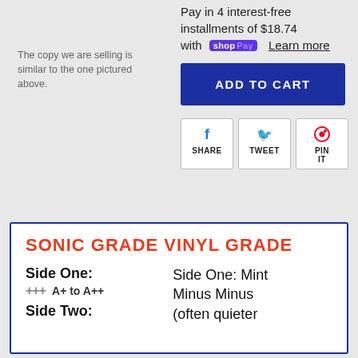The copy we are selling is similar to the one pictured above.
Pay in 4 interest-free installments of $18.74 with shopPay Learn more
ADD TO CART
SHARE
TWEET
PIN IT
SONIC GRADE VINYL GRADE
Side One: +++ A+ to A++ Side One: Mint Minus Minus (often quieter Side Two: